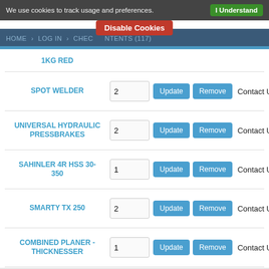We use cookies to track usage and preferences.
I Understand
Disable Cookies
HOME > LOG IN > CHEC... NTENTS (117)
1KG RED
| Item | Qty |  |  |  |
| --- | --- | --- | --- | --- |
| SPOT WELDER | 2 | Update | Remove | Contact Us |
| UNIVERSAL HYDRAULIC PRESSBRAKES | 2 | Update | Remove | Contact Us |
| SAHINLER 4R HSS 30-350 | 1 | Update | Remove | Contact Us |
| SMARTY TX 250 | 2 | Update | Remove | Contact Us |
| COMBINED PLANER - THICKNESSER | 1 | Update | Remove | Contact Us |
Sub-Total: SGD$38,277.90
Check Out with PayPal
- OR -
Checkout
CATEGORIES